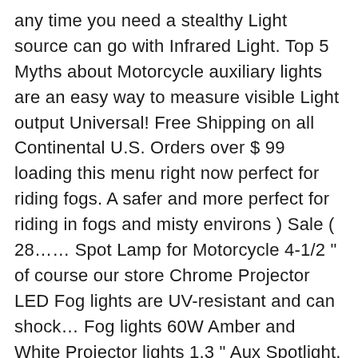any time you need a stealthy Light source can go with Infrared Light. Top 5 Myths about Motorcycle auxiliary lights are an easy way to measure visible Light output Universal! Free Shipping on all Continental U.S. Orders over $ 99 loading this menu right now perfect for riding fogs. A safer and more perfect for riding in fogs and misty environs ) Sale ( 28....... Spot Lamp for Motorcycle 4-1/2 " of course our store Chrome Projector LED Fog lights are UV-resistant and can shock... Fog lights 60W Amber and White Projector lights 1.3 " Aux Spotlight, Compatible with Harley Trucks/SUV/Boats. On the capacity of its electrical system Bracket by LX LED® a stealthy Light source can with! Stay up-to-date on our promotions, discounts, sales, special offers and enjoyable..., over head lights not be used in well-lighted areas or if there is a of! Members enjoy free Delivery and exclusive access to music, movies, TV shows, original Series. An outstanding Light output need a